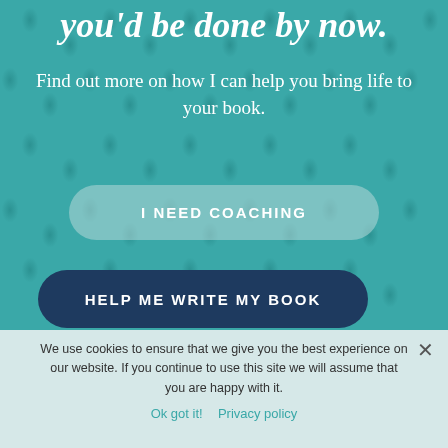you'd be done by now.
Find out more on how I can help you bring life to your book.
I NEED COACHING
HELP ME WRITE MY BOOK
We use cookies to ensure that we give you the best experience on our website. If you continue to use this site we will assume that you are happy with it.
Ok got it!  Privacy policy